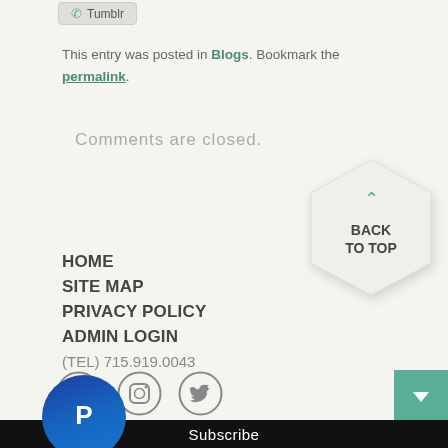This entry was posted in Blogs. Bookmark the permalink.
Comments are closed.
[Figure (illustration): Hexagon shaped back-to-top button with upward chevron and text BACK TO TOP]
HOME
SITE MAP
PRIVACY POLICY
ADMIN LOGIN
(TEL) 715.919.0043
[Figure (illustration): Three social media icon circles: Facebook, Instagram, Twitter]
Sign-up for our e-mail newsletter
Subscribe